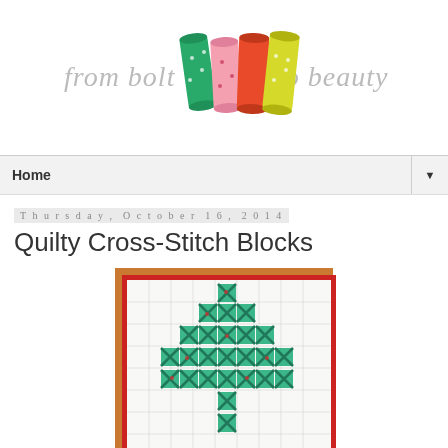[Figure (logo): Blog header logo: 'from bolt to beauty' with colorful fabric bolt illustrations in green, pink, orange, and yellow]
Home
Thursday, October 16, 2014
Quilty Cross-Stitch Blocks
[Figure (photo): A framed quilt with cross-stitch blocks in a Christmas tree pattern made of teal/green floral fabric with a red border and wooden frame]